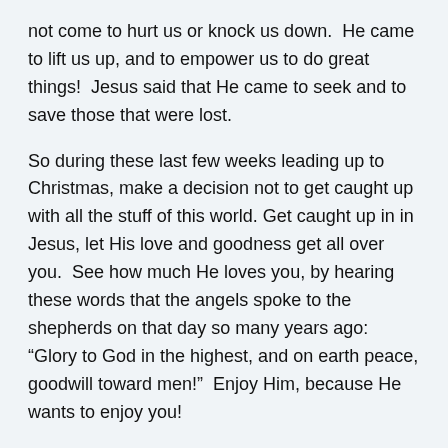not come to hurt us or knock us down.  He came to lift us up, and to empower us to do great things!  Jesus said that He came to seek and to save those that were lost.
So during these last few weeks leading up to Christmas, make a decision not to get caught up with all the stuff of this world. Get caught up in in Jesus, let His love and goodness get all over you.  See how much He loves you, by hearing these words that the angels spoke to the shepherds on that day so many years ago: “Glory to God in the highest, and on earth peace, goodwill toward men!”  Enjoy Him, because He wants to enjoy you!
Prayer:
Heavenly Father, This Christmas season, help me not get caught up in the caos of society, help me get caught up with You Lord “My Father”.  I am going to enjoy You, and thank You for all You have done for me.  You gift of love and